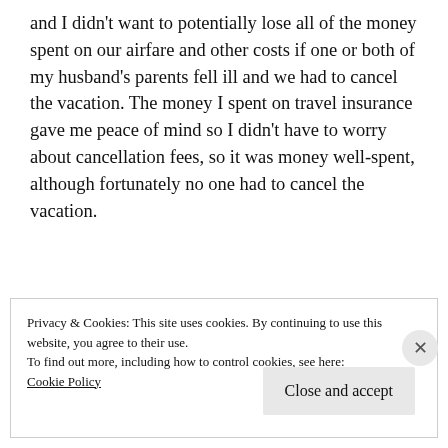and I didn't want to potentially lose all of the money spent on our airfare and other costs if one or both of my husband's parents fell ill and we had to cancel the vacation. The money I spent on travel insurance gave me peace of mind so I didn't have to worry about cancellation fees, so it was money well-spent, although fortunately no one had to cancel the vacation.
Privacy & Cookies: This site uses cookies. By continuing to use this website, you agree to their use.
To find out more, including how to control cookies, see here:
Cookie Policy